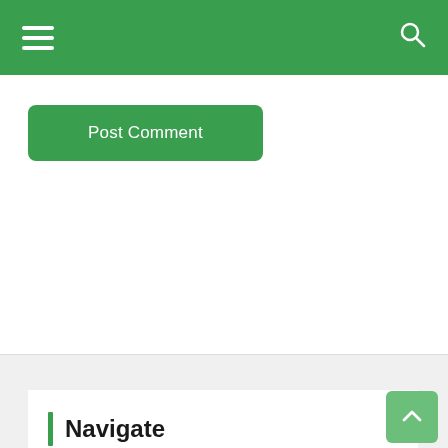Navigation bar with hamburger menu and search icon
[Figure (screenshot): Green Post Comment button on white card background]
Navigate
Home
Top News
World
Economy
Science and Health
Technology
Sport
Entertainment